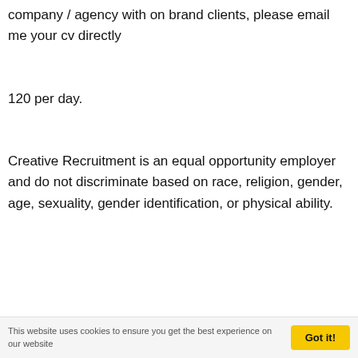company / agency with on brand clients, please email me your cv directly
120 per day.
Creative Recruitment is an equal opportunity employer and do not discriminate based on race, religion, gender, age, sexuality, gender identification, or physical ability.
This website uses cookies to ensure you get the best experience on our website  Got it!